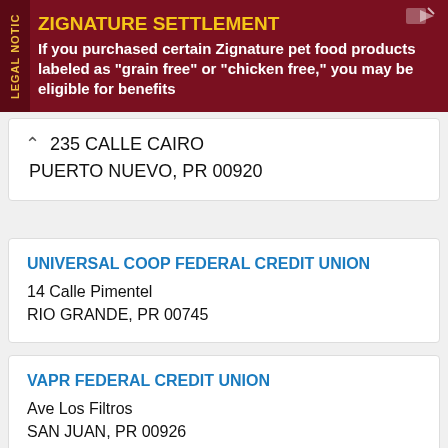[Figure (infographic): Zignature Settlement legal notice advertisement banner with dark red background, yellow title and white body text]
235 CALLE CAIRO
PUERTO NUEVO, PR 00920
UNIVERSAL COOP FEDERAL CREDIT UNION
14 Calle Pimentel
RIO GRANDE, PR 00745
VAPR FEDERAL CREDIT UNION
Ave Los Filtros
SAN JUAN, PR 00926